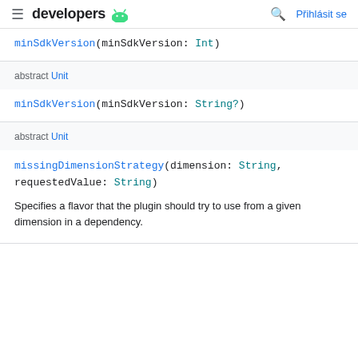≡ developers 🤖   🔍 Přihlásit se
minSdkVersion(minSdkVersion: Int)
abstract Unit
minSdkVersion(minSdkVersion: String?)
abstract Unit
missingDimensionStrategy(dimension: String, requestedValue: String)
Specifies a flavor that the plugin should try to use from a given dimension in a dependency.